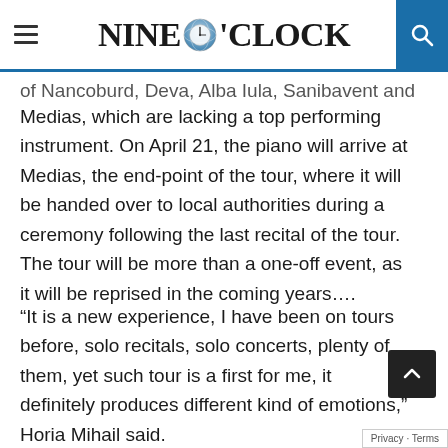Nine O'Clock
of Nancoburd, Deva, Alba Iula, Sanibavent and Medias, which are lacking a top performing instrument. On April 21, the piano will arrive at Medias, the end-point of the tour, where it will be handed over to local authorities during a ceremony following the last recital of the tour. The tour will be more than a one-off event, as it will be reprised in the coming years....
“It is a new experience, I have been on tours before, solo recitals, solo concerts, plenty of them, yet such tour is a first for me, it definitely produces different kind of emotions,” Horia Mihail said.